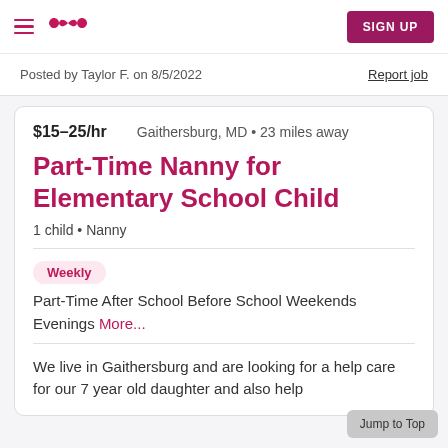Care.com navigation with hamburger menu, logo, and SIGN UP button
Posted by Taylor F. on 8/5/2022
Report job
$15–25/hr    Gaithersburg, MD • 23 miles away
Part-Time Nanny for Elementary School Child
1 child • Nanny
Weekly
Part-Time After School Before School Weekends Evenings More...
We live in Gaithersburg and are looking for a help care for our 7 year old daughter and also help